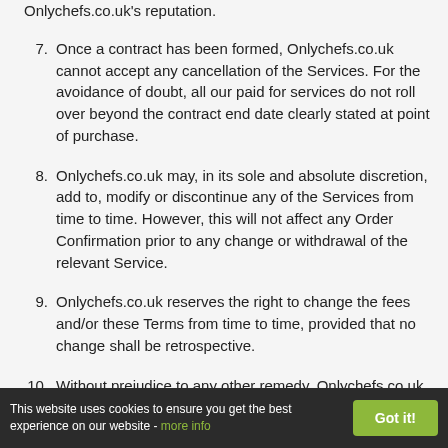Onlychefs.co.uk's reputation.
7. Once a contract has been formed, Onlychefs.co.uk cannot accept any cancellation of the Services. For the avoidance of doubt, all our paid for services do not roll over beyond the contract end date clearly stated at point of purchase.
8. Onlychefs.co.uk may, in its sole and absolute discretion, add to, modify or discontinue any of the Services from time to time. However, this will not affect any Order Confirmation prior to any change or withdrawal of the relevant Service.
9. Onlychefs.co.uk reserves the right to change the fees and/or these Terms from time to time, provided that no change shall be retrospective.
10. Without prejudice to any other remedy, Onlychefs.co.uk may terminate the Client's account or cancel any outstanding orders
This website uses cookies to ensure you get the best experience on our website - more info  Got it!